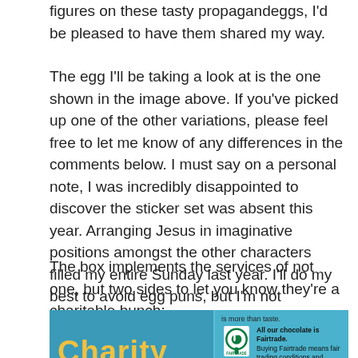figures on these tasty propagandeggs, I'd be pleased to have them shared my way.
The egg I'll be taking a look at is the one shown in the image above.  If you've picked up one of the other variations, please feel free to let me know of any differences in the comments below.  I must say on a personal note, I was incredibly disappointed to discover the sticker set was absent this year.  Arranging Jesus in imaginative positions amongst the other characters filled my entire Sunday last year.  I'll do my best to avoid egg puns, but I'm not promising anything.
The box implements the services of not one, but two sides to let you know they're a charitable bunch:
[Figure (photo): Photo of a blue chocolate egg box showing 'Charity Fighting' text in yellow on the left side, and a Fairtrade logo with text on the right side reading: 'is more than taste. All our chocolate is Fairtrade. Buying Fairtrade means fair trading conditions and opportunities for producers and developing countries.']